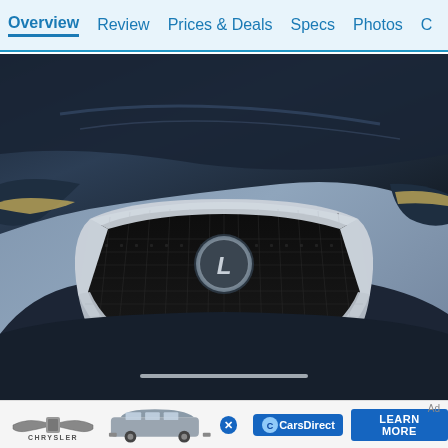Overview  Review  Prices & Deals  Specs  Photos  C
[Figure (photo): Close-up front view of a Lexus vehicle showing the large spindle grille with hexagonal mesh pattern, Lexus logo badge in the center, and partial view of the headlights. The car is dark navy/black and photographed against a grey-blue background.]
[Figure (photo): Advertisement banner showing Chrysler brand logo on the left, a silver/grey Chrysler minivan in the center, CarsDirect logo badge, and a 'LEARN MORE' button. Ad label shown in top right corner.]